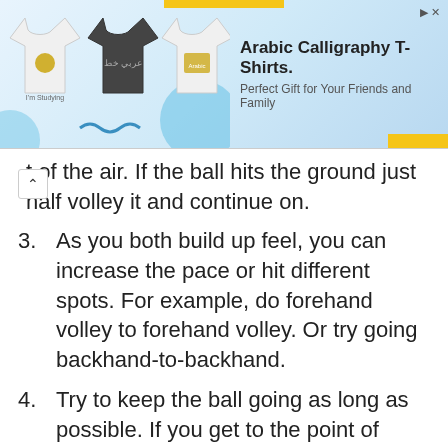[Figure (screenshot): Advertisement banner for Arabic Calligraphy T-Shirts showing three t-shirts (two white, one dark) and text 'Arabic Calligraphy T-Shirts. Perfect Gift for Your Friends and Family']
...t of the air. If the ball hits the ground just half volley it and continue on.
3. As you both build up feel, you can increase the pace or hit different spots. For example, do forehand volley to forehand volley. Or try going backhand-to-backhand.
4. Try to keep the ball going as long as possible. If you get to the point of being super-advanced with this drill, you can alternate moving side-to-side while volleying.
You can also make this drill a game. If you miss the volley you lose the point. Play games up to 11.